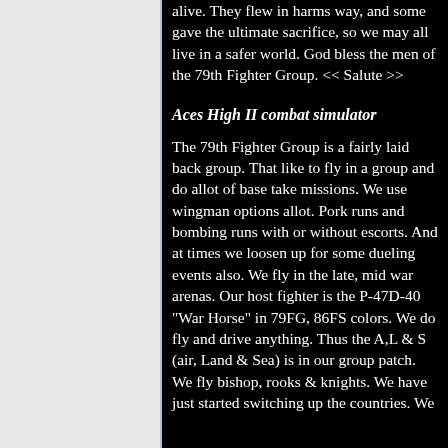alive. They flew in harms way, and some gave the ultimate sacrifice, so we may all live in a safer world. God bless the men of the 79th Fighter Group. << Salute >>
Aces High II combat simulator
The 79th Fighter Group is a fairly laid back group. That like to fly in a group and do allot of base take missions. We use wingman options allot. Pork runs and bombing runs with or without escorts. And at times we loosen up for some dueling events also. We fly in the late, mid war arenas. Our host fighter is the P-47D-40 "War Horse" in 79FG, 86FS colors. We do fly and drive anything. Thus the A,L & S (air, Land & Sea) is in our group patch. We fly bishop, rooks & knights. We have just started switching up the countries. We